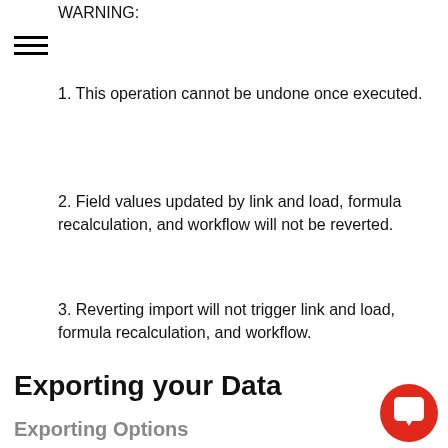WARNING:
1. This operation cannot be undone once executed.
2. Field values updated by link and load, formula recalculation, and workflow will not be reverted.
3. Reverting import will not trigger link and load, formula recalculation, and workflow.
Exporting your Data
Exporting Options